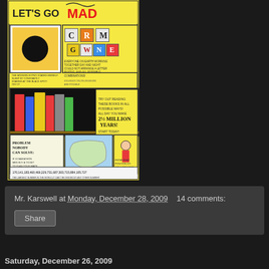[Figure (illustration): Comic book page showing 'Let's Go Mad' with colorful panels featuring letter blocks (C, R, M, G, W, N, E), books on a shelf, a map of North America, and a man pointing at something, with large numbers at the bottom: 170,141,183,460,469,229,731,687,303,715,884,105,727]
Mr. Karswell at Monday, December 28, 2009   14 comments:
Share
Saturday, December 26, 2009